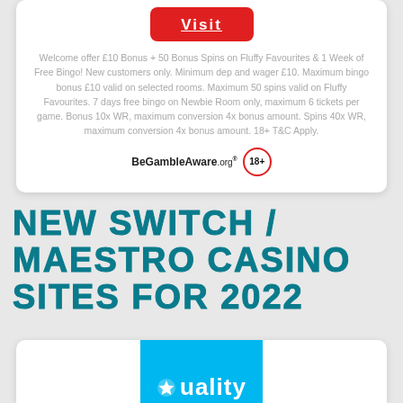[Figure (other): Red VISIT button]
Welcome offer £10 Bonus + 50 Bonus Spins on Fluffy Favourites & 1 Week of Free Bingo! New customers only. Minimum dep and wager £10. Maximum bingo bonus £10 valid on selected rooms. Maximum 50 spins valid on Fluffy Favourites. 7 days free bingo on Newbie Room only, maximum 6 tickets per game. Bonus 10x WR, maximum conversion 4x bonus amount. Spins 40x WR, maximum conversion 4x bonus amount. 18+ T&C Apply.
[Figure (logo): BeGambleAware.org logo and 18+ badge]
NEW SWITCH / MAESTRO CASINO SITES FOR 2022
[Figure (logo): Quality casino logo on blue background]